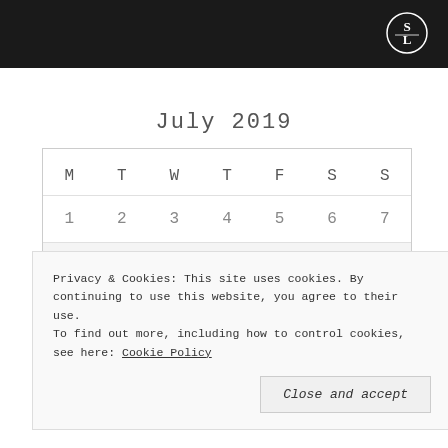[Figure (illustration): Dark header image with a decorative monogram/crest logo (SL) in white on the right side against a black background]
July 2019
| M | T | W | T | F | S | S |
| --- | --- | --- | --- | --- | --- | --- |
| 1 | 2 | 3 | 4 | 5 | 6 | 7 |
| 8 | 9 | 10 | 11 | 12 | 13 | 14 |
| 15 | 16 | 17 | 18 | 19 | 20 | 21 |
Privacy & Cookies: This site uses cookies. By continuing to use this website, you agree to their use. To find out more, including how to control cookies, see here: Cookie Policy
Close and accept